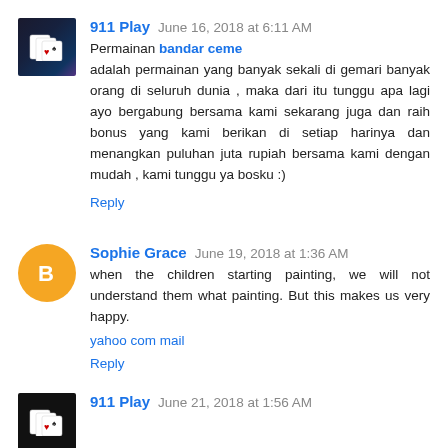[Figure (photo): Avatar image showing playing cards on dark background for 911 Play]
911 Play  June 16, 2018 at 6:11 AM
Permainan bandar ceme adalah permainan yang banyak sekali di gemari banyak orang di seluruh dunia , maka dari itu tunggu apa lagi ayo bergabung bersama kami sekarang juga dan raih bonus yang kami berikan di setiap harinya dan menangkan puluhan juta rupiah bersama kami dengan mudah , kami tunggu ya bosku :)
Reply
[Figure (logo): Orange circle avatar with white blogger 'B' icon for Sophie Grace]
Sophie Grace  June 19, 2018 at 1:36 AM
when the children starting painting, we will not understand them what painting. But this makes us very happy.
yahoo com mail
Reply
[Figure (photo): Avatar image showing playing cards on dark background for 911 Play]
911 Play  June 21, 2018 at 1:56 AM